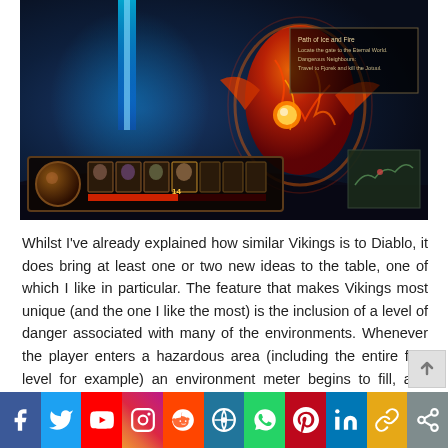[Figure (screenshot): Game screenshot showing a fantasy action RPG (Vikings-like game) with a fire creature/boss, blue energy beam, HUD bar with character icons, quest box overlay on right, and map area in bottom right]
Whilst I've already explained how similar Vikings is to Diablo, it does bring at least one or two new ideas to the table, one of which I like in particular. The feature that makes Vikings most unique (and the one I like the most) is the inclusion of a level of danger associated with many of the environments. Whenever the player enters a hazardous area (including the entire first level for example) an environment meter begins to fill, and once it reaches maximum level, the player will begin to take damage. Depending on the kind of area that the hero is in, he or she must then seek out a safe haven in the form of a warm bonfire, a crack of fresh air or similar. It's a mechanic that really drives behaviour, forcing players to take risks and press on, or to backtrack and play it s
[Figure (infographic): Social media sharing bar with icons: Facebook (blue), Twitter (light blue), YouTube (red), Instagram (gradient), Reddit (orange-red), WordPress (dark blue/black), WhatsApp (green), Pinterest (red), LinkedIn (blue), Copy Link (gold/yellow), Share (gray)]